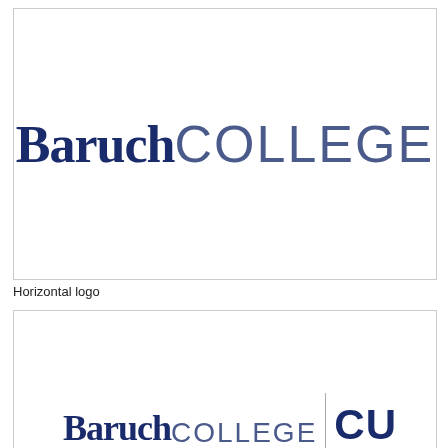[Figure (logo): Baruch College horizontal logo — 'Baruch' in bold dark navy serif font followed by 'COLLEGE' in lighter sans-serif navy text, inside a bordered white box]
Horizontal logo
[Figure (logo): Baruch College logo with CUNY affiliation — 'Baruch' bold serif + 'COLLEGE' light sans + vertical divider + 'CU' bold abbreviation, partially cropped at bottom of page]